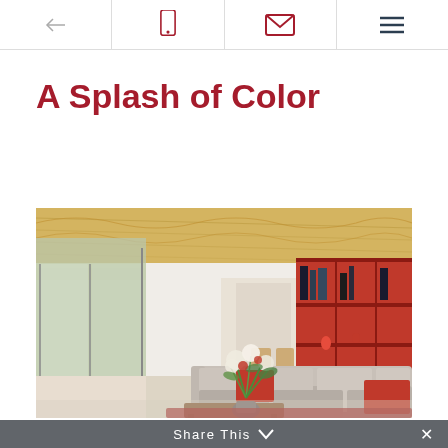← [phone icon] [email icon] [menu icon]
A Splash of Color
[Figure (photo): Modern open-plan living room with wooden ceiling, floor-to-ceiling glass walls opening to garden, red bookshelf unit, grey sectional sofa with red cushions, and floral arrangement on wooden coffee table over red rug]
Share This ∨  ×